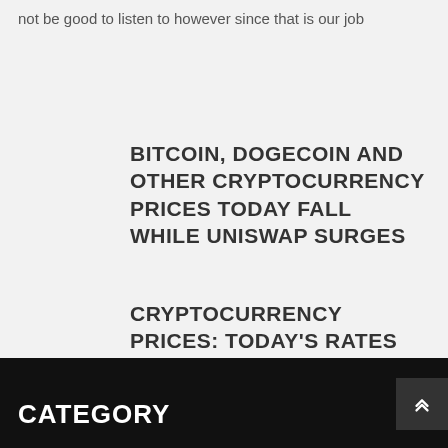not be good to listen to however since that is our job
BITCOIN, DOGECOIN AND OTHER CRYPTOCURRENCY PRICES TODAY FALL WHILE UNISWAP SURGES
CRYPTOCURRENCY PRICES: TODAY'S RATES OF BITCOIN, ETHEREUM, DOGECOIN, XRP
CATEGORY